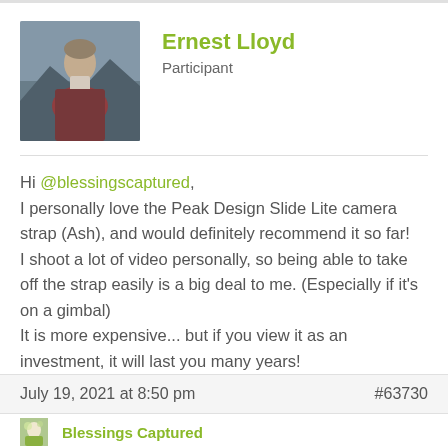[Figure (photo): Avatar/profile photo of Ernest Lloyd, a person outdoors in a grey/foggy setting]
Ernest Lloyd
Participant
Hi @blessingscaptured,
I personally love the Peak Design Slide Lite camera strap (Ash), and would definitely recommend it so far!
I shoot a lot of video personally, so being able to take off the strap easily is a big deal to me. (Especially if it's on a gimbal)
It is more expensive... but if you view it as an investment, it will last you many years!
July 19, 2021 at 8:50 pm
#63730
[Figure (photo): Avatar/profile photo of Blessings Captured, showing flowers or nature]
Blessings Captured